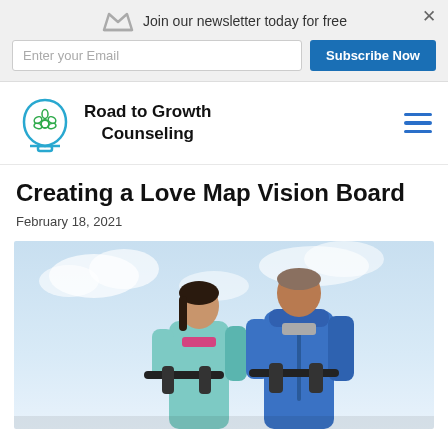Join our newsletter today for free
Creating a Love Map Vision Board
February 18, 2021
[Figure (photo): A couple on bicycles looking upward against a blue sky background. The woman wears a light teal jacket and the man wears a blue hoodie.]